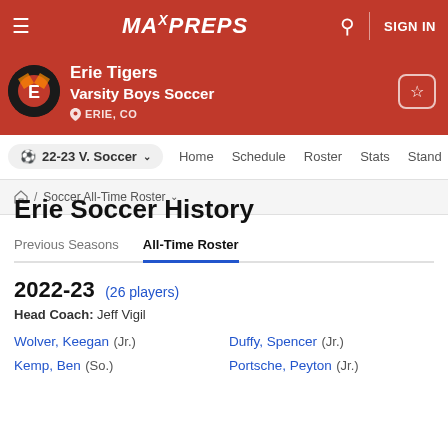MaxPreps — Erie Tigers Varsity Boys Soccer — Erie, CO
Erie Soccer History
Previous Seasons | All-Time Roster
2022-23 (26 players)
Head Coach: Jeff Vigil
Wolver, Keegan (Jr.)
Duffy, Spencer (Jr.)
Kemp, Ben (So.)
Portsche, Peyton (Jr.)